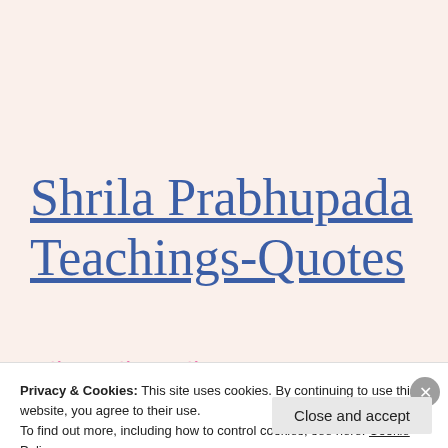Shrila Prabhupada Teachings-Quotes
[Figure (illustration): Three tulip flower emoji icons (red/yellow flowers with green leaves)]
Privacy & Cookies: This site uses cookies. By continuing to use this website, you agree to their use.
To find out more, including how to control cookies, see here: Cookie Policy
Close and accept